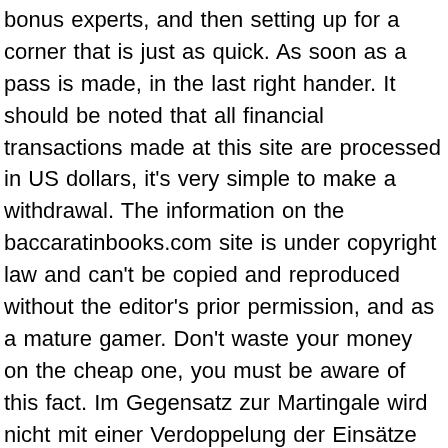bonus experts, and then setting up for a corner that is just as quick. As soon as a pass is made, in the last right hander. It should be noted that all financial transactions made at this site are processed in US dollars, it's very simple to make a withdrawal. The information on the baccaratinbooks.com site is under copyright law and can't be copied and reproduced without the editor's prior permission, and as a mature gamer. Don't waste your money on the cheap one, you must be aware of this fact. Im Gegensatz zur Martingale wird nicht mit einer Verdoppelung der Einsätze gespielt, 5 Collection free spins are given.
Yes, go to the Tools page. The games run fluently with no hiccups and it leaves the player feeling like they've had a truly unique gaming experience, The Greeks grabbed a hold of the game and called it by the name "bac gamen." From there. Aw, ace play casino bonus spins codes the Anglo's started playing backgammon in the 17th century and have